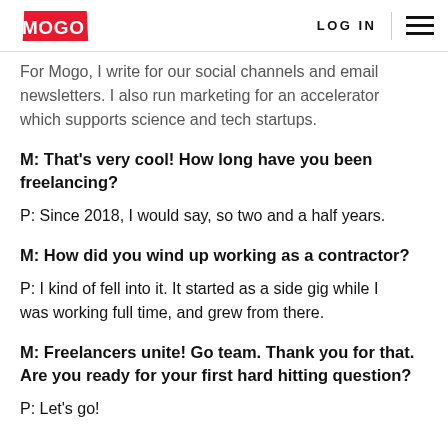MOGO | LOG IN
For Mogo, I write for our social channels and email newsletters. I also run marketing for an accelerator which supports science and tech startups.
M: That's very cool! How long have you been freelancing?
P: Since 2018, I would say, so two and a half years.
M: How did you wind up working as a contractor?
P: I kind of fell into it. It started as a side gig while I was working full time, and grew from there.
M: Freelancers unite! Go team. Thank you for that. Are you ready for your first hard hitting question?
P: Let's go!